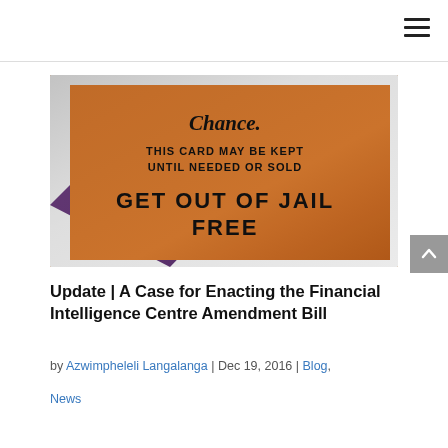[Figure (photo): A close-up photo of a Monopoly 'Get Out of Jail Free' card on an orange background, with text reading 'Chance, THIS CARD MAY BE KEPT UNTIL NEEDED OR SOLD, GET OUT OF JAIL FREE']
Update | A Case for Enacting the Financial Intelligence Centre Amendment Bill
by Azwimpheleli Langalanga | Dec 19, 2016 | Blog, News